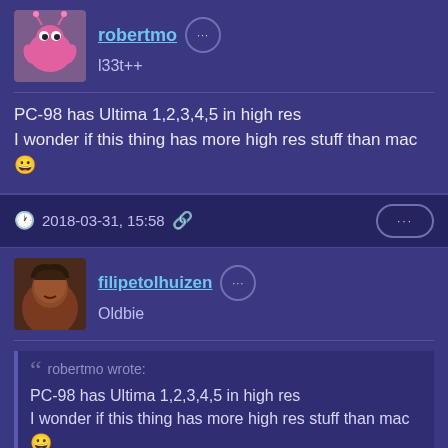[Figure (illustration): User avatar for robertmo — pink cartoon character with googly eyes]
robertmo ··· 
l33t++
PC-98 has Ultima 1,2,3,4,5 in high res
I wonder if this thing has more high res stuff than mac 😀
🕐 2018-03-31, 15:58 🔗   ···
[Figure (illustration): User avatar for filipetolhuizen — profile picture showing a person]
filipetolhuizen ··· 
Oldbie
❝ robertmo wrote:
PC-98 has Ultima 1,2,3,4,5 in high res
I wonder if this thing has more high res stuff than mac
😀
Interesting. If you come accross more titles, let us know. If